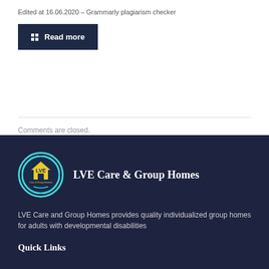Edited at 16.06.2020 – Grammarly plagiarism checker
Read more
Comments are closed.
[Figure (logo): LVE Care & Group Homes circular logo with teal border, yellow house and LVE text on dark background]
LVE Care & Group Homes
LVE Care and Group Homes provides quality individualized group homes for adults with developmental disabilities
Quick Links